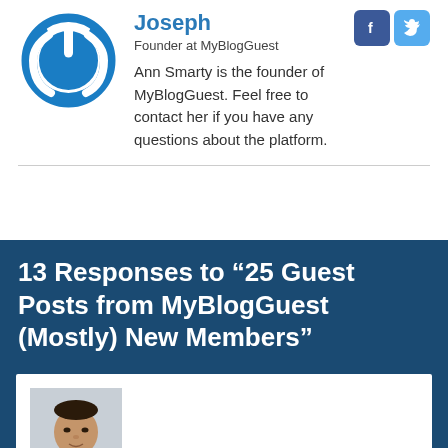Joseph
Founder at MyBlogGuest
Ann Smarty is the founder of MyBlogGuest. Feel free to contact her if you have any questions about the platform.
13 Responses to “25 Guest Posts from MyBlogGuest (Mostly) New Members”
[Figure (photo): Profile photo of dragonblogger with DRAGON BLOGGER label overlay]
dragonblogger
In on finding some great and valuable guest articles